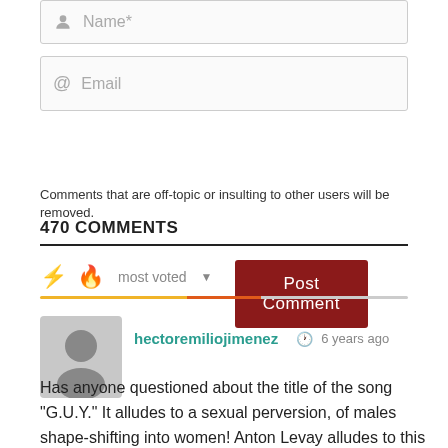Name*
Email
Post Comment
Comments that are off-topic or insulting to other users will be removed.
470 COMMENTS
most voted
[Figure (illustration): User avatar placeholder (grey silhouette)]
hectoremiliojimenez  6 years ago
Has anyone questioned about the title of the song "G.U.Y." It alludes to a sexual perversion, of males shape-shifting into women! Anton Levay alludes to this in this YouTube video: https://www.youtube.com/watch?v=QeDtI-AHp9U Pay attention to the first minute and how she states that... "Satan